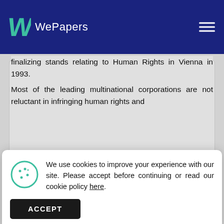WePapers
finalizing stands relating to Human Rights in Vienna in 1993.
Most of the leading multinational corporations are not reluctant in infringing human rights and
[Figure (screenshot): Cookie consent banner with cookie icon, text about cookies policy, and ACCEPT button]
entrepreneurship
SHOW MORE POSTS